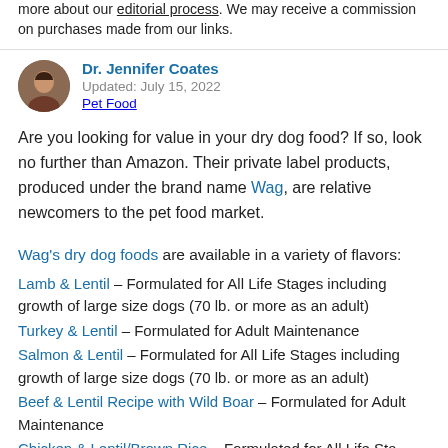more about our editorial process. We may receive a commission on purchases made from our links.
Dr. Jennifer Coates
Updated: July 15, 2022
Pet Food
Are you looking for value in your dry dog food? If so, look no further than Amazon. Their private label products, produced under the brand name Wag, are relative newcomers to the pet food market.
Wag's dry dog foods are available in a variety of flavors:
Lamb & Lentil – Formulated for All Life Stages including growth of large size dogs (70 lb. or more as an adult)
Turkey & Lentil – Formulated for Adult Maintenance
Salmon & Lentil – Formulated for All Life Stages including growth of large size dogs (70 lb. or more as an adult)
Beef & Lentil Recipe with Wild Boar – Formulated for Adult Maintenance
Chicken & Lentil/Brown Rice – Formulated for All Life Stages